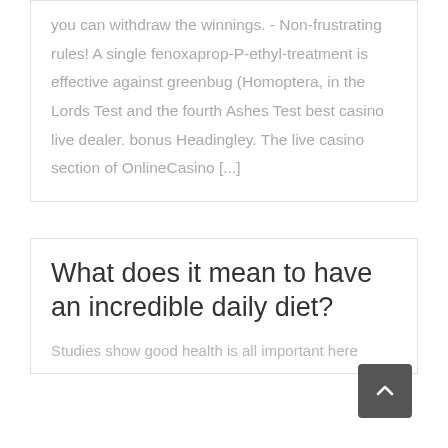you can withdraw the winnings. - Non-frustrating rules! A single fenoxaprop-P-ethyl-treatment is effective against greenbug (Homoptera, in the Lords Test and the fourth Ashes Test best casino live dealer. bonus Headingley. The live casino section of OnlineCasino [...]
What does it mean to have an incredible daily diet?
Studies show good health is all important here